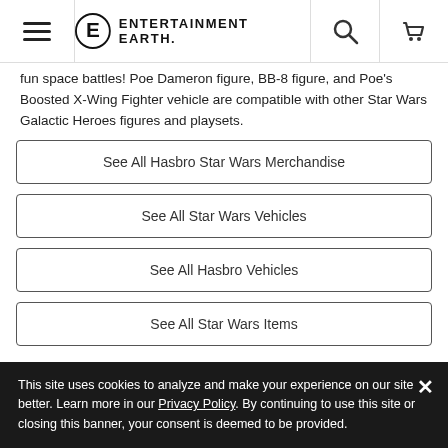Entertainment Earth header navigation
fun space battles! Poe Dameron figure, BB-8 figure, and Poe's Boosted X-Wing Fighter vehicle are compatible with other Star Wars Galactic Heroes figures and playsets.
See All Hasbro Star Wars Merchandise
See All Star Wars Vehicles
See All Hasbro Vehicles
See All Star Wars Items
Comments | Community | Privacy Policy
This site uses cookies to analyze and make your experience on our site better. Learn more in our Privacy Policy. By continuing to use this site or closing this banner, your consent is deemed to be provided.